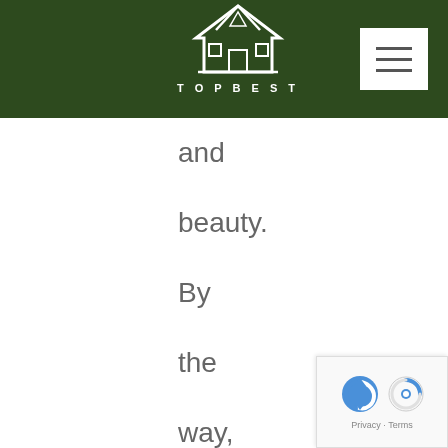TOPBEST
and beauty. By the way, Lakshmi is the Hindu Goddess of wealth; having a